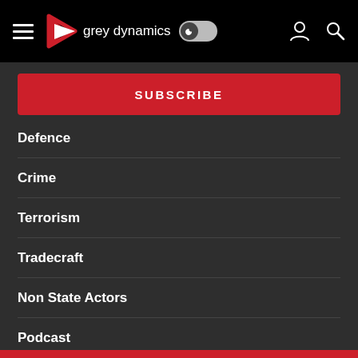grey dynamics
SUBSCRIBE
Defence
Crime
Terrorism
Tradecraft
Non State Actors
Podcast
Intel